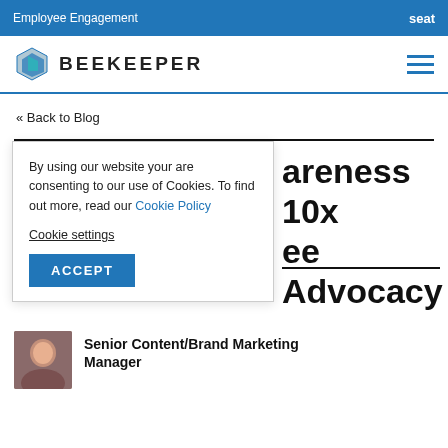Employee Engagement    seat
BEEKEEPER
« Back to Blog
areness 10x ee Advocacy
By using our website your are consenting to our use of Cookies. To find out more, read our Cookie Policy

Cookie settings

ACCEPT
Senior Content/Brand Marketing Manager